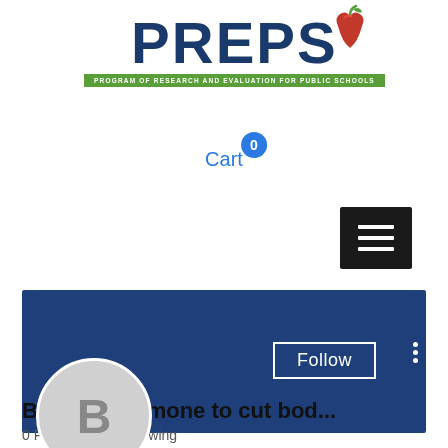[Figure (logo): PREPS logo - Program of Research and Evaluation for Public Schools, with apple icon]
Cart 0
[Figure (screenshot): Hamburger menu button (three horizontal lines) on black background]
[Figure (screenshot): User profile section with dark blue banner, avatar circle with letter B, Follow button, and three-dot menu]
Best prohormone to cut bod...
0 Followers • 0 Following